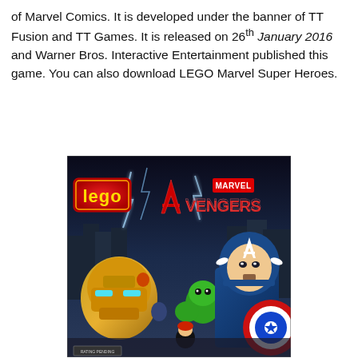of Marvel Comics. It is developed under the banner of TT Fusion and TT Games. It is released on 26th January 2016 and Warner Bros. Interactive Entertainment published this game. You can also download LEGO Marvel Super Heroes.
[Figure (photo): LEGO Marvel Avengers video game cover art featuring LEGO versions of Iron Man, Captain America, Hulk, Black Widow, and other Avengers characters with the LEGO and Marvel Avengers logo.]